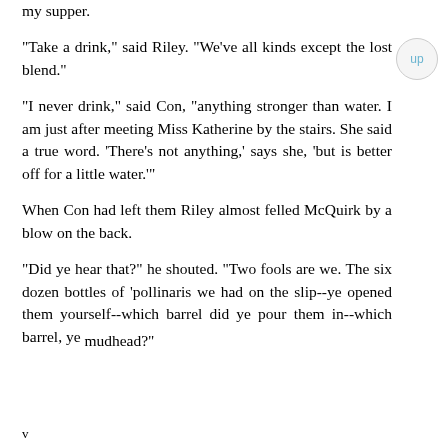my supper.
"Take a drink," said Riley. "We've all kinds except the lost blend."
"I never drink," said Con, "anything stronger than water. I am just after meeting Miss Katherine by the stairs. She said a true word. 'There's not anything,' says she, 'but is better off for a little water.'"
When Con had left them Riley almost felled McQuirk by a blow on the back.
"Did ye hear that?" he shouted. "Two fools are we. The six dozen bottles of 'pollinaris we had on the slip--ye opened them yourself--which barrel did ye pour them in--which barrel, ye mudhead?"
v